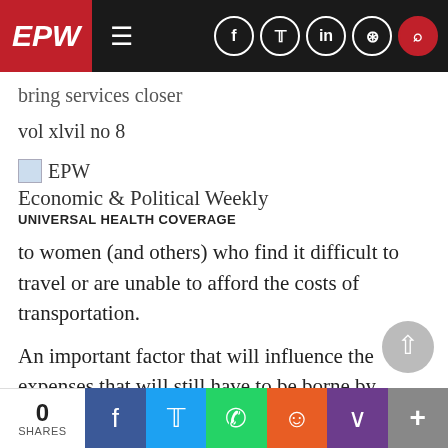EPW — Economic & Political Weekly navigation bar
bring services closer
vol xlvil no 8
[Figure (logo): EPW logo icon thumbnail]
Economic & Political Weekly
UNIVERSAL HEALTH COVERAGE
to women (and others) who find it difficult to travel or are unable to afford the costs of transportation.
An important factor that will influence the expenses that will still have to be borne by patients is the content of the National Health
0 SHARES | Share on Facebook | Share on Twitter | Share on WhatsApp | Share on Reddit | Share on Pocket | More